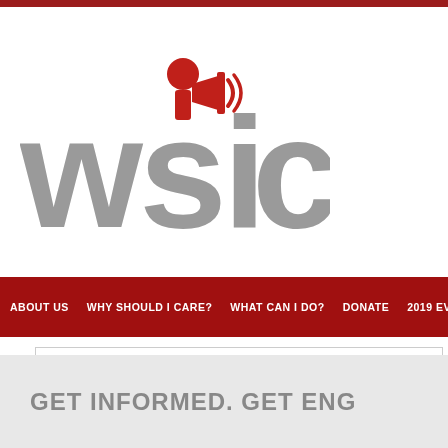[Figure (logo): WSIC logo with red megaphone/person icon above large gray letters WSIC]
ABOUT US   WHY SHOULD I CARE?   WHAT CAN I DO?   DONATE   2019 EV...
SEND
GET INFORMED. GET ENG...